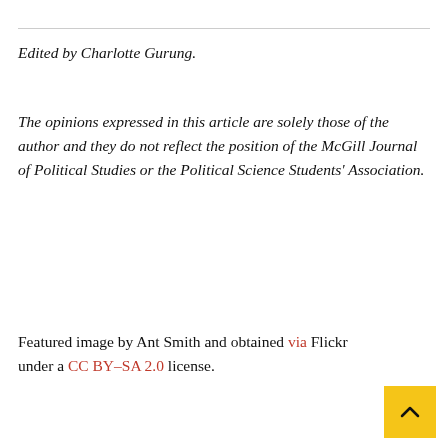Edited by Charlotte Gurung.
The opinions expressed in this article are solely those of the author and they do not reflect the position of the McGill Journal of Political Studies or the Political Science Students' Association.
Featured image by Ant Smith and obtained via Flickr under a CC BY-SA 2.0 license.